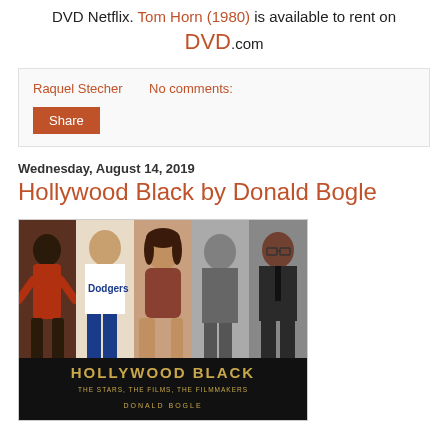DVD Netflix. Tom Horn (1980) is available to rent on DVD.com
Raquel Stecher   No comments:
Share
Wednesday, August 14, 2019
Hollywood Black by Donald Bogle
[Figure (photo): Book cover of 'Hollywood Black: The Stars, The Films, The Filmmakers' by Donald Bogle, featuring multiple Black actors and personalities]